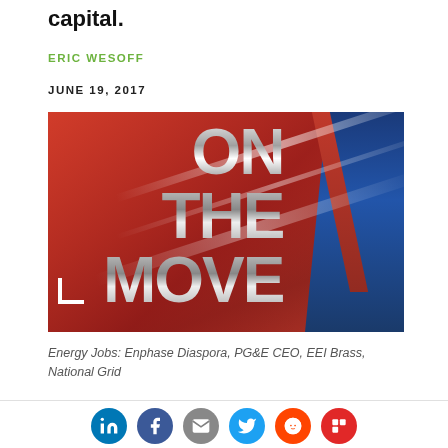capital.
ERIC WESOFF
JUNE 19, 2017
[Figure (photo): Photo with text 'ON THE MOVE' in large metallic letters overlaid on a red background with light streaks and blue sky/bridge visible on the right side.]
Energy Jobs: Enphase Diaspora, PG&E CEO, EEI Brass, National Grid